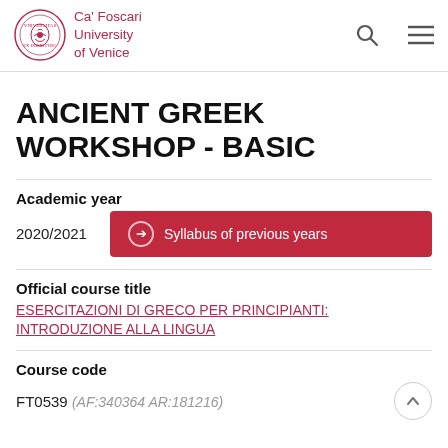Ca' Foscari University of Venice
ANCIENT GREEK WORKSHOP - BASIC
Academic year
2020/2021
Syllabus of previous years
Official course title
ESERCITAZIONI DI GRECO PER PRINCIPIANTI: INTRODUZIONE ALLA LINGUA
Course code
FT0539 (AF:340364 AR:181216)